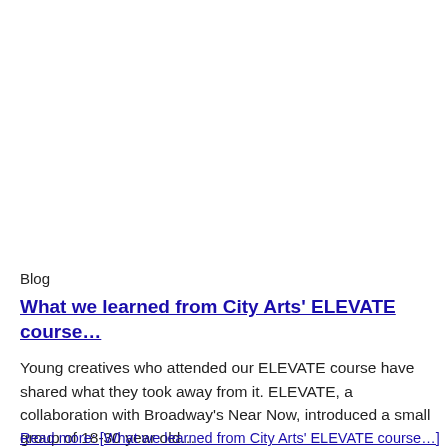Blog
What we learned from City Arts' ELEVATE course…
Young creatives who attended our ELEVATE course have shared what they took away from it. ELEVATE, a collaboration with Broadway's Near Now, introduced a small group of 18-30 year old…
Read more: [What we learned from City Arts' ELEVATE course…]